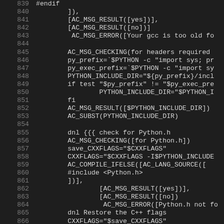[Figure (screenshot): Code editor screenshot showing shell/autoconf script lines 839-866 with dark theme. Line numbers on left in gray, code in light gray on dark background.]